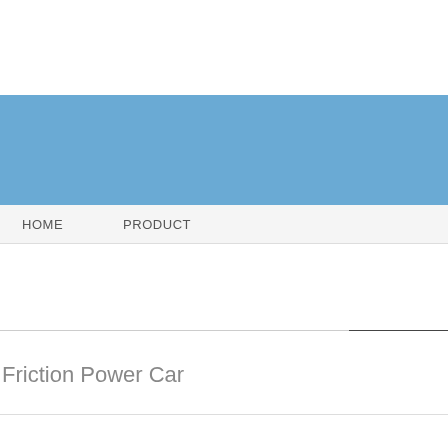[Figure (other): Blue banner/header area spanning full width]
HOME    PRODUCT
Friction Power Car